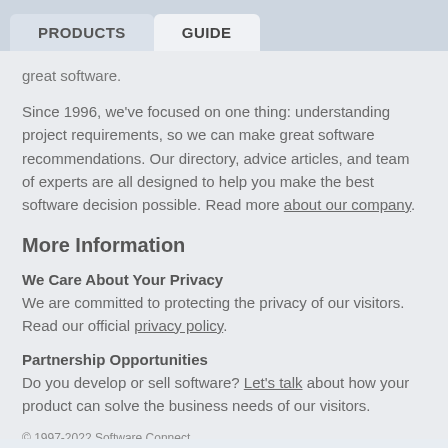PRODUCTS  GUIDE
great software.
Since 1996, we've focused on one thing: understanding project requirements, so we can make great software recommendations. Our directory, advice articles, and team of experts are all designed to help you make the best software decision possible. Read more about our company.
More Information
We Care About Your Privacy
We are committed to protecting the privacy of our visitors. Read our official privacy policy.
Partnership Opportunities
Do you develop or sell software? Let's talk about how your product can solve the business needs of our visitors.
© 1997-2022 Software Connect